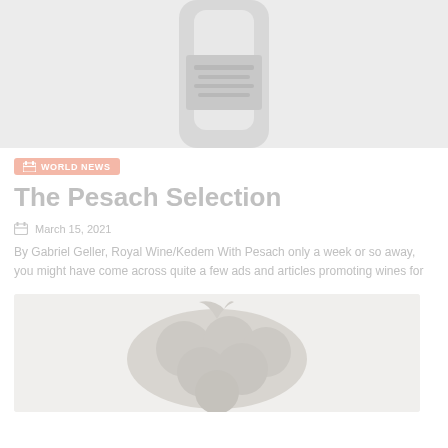[Figure (photo): Top portion of a wine bottle, light gray/white background, faded]
WORLD NEWS
The Pesach Selection
March 15, 2021
By Gabriel Geller, Royal Wine/Kedem With Pesach only a week or so away, you might have come across quite a few ads and articles promoting wines for
[Figure (photo): A bunch of dark grapes on a light background, faded/washed out appearance]